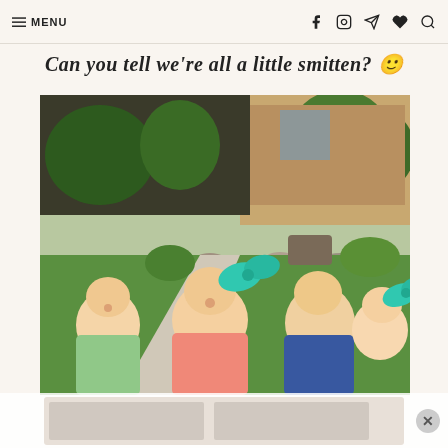≡ MENU | social icons
Can you tell we're all a little smitten? 😊
[Figure (photo): Four young blonde children posing outdoors on a driveway/lawn in front of a brick house. Three older children (two boys and a girl) and one baby girl. The girl and baby are wearing teal/mint hair bows. The setting shows green grass, a curved concrete walkway, landscaping with rocks and shrubs, and a brick house in the background.]
[Figure (photo): Bottom portion of the same photo, partially obscured by an advertisement overlay with a close/X button on the right side.]